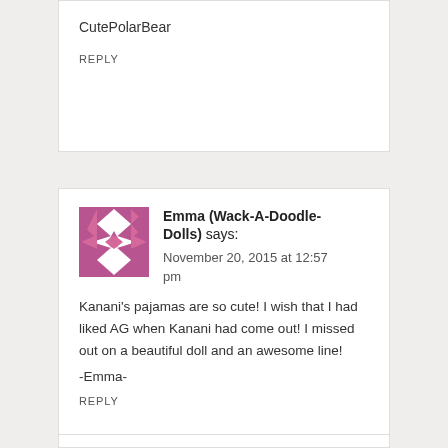CutePolarBear
REPLY
[Figure (illustration): Decorative avatar image with pink and white geometric diamond/quilt pattern]
Emma (Wack-A-Doodle-Dolls) says:
November 20, 2015 at 12:57 pm
Kanani's pajamas are so cute! I wish that I had liked AG when Kanani had come out! I missed out on a beautiful doll and an awesome line!
-Emma-
REPLY